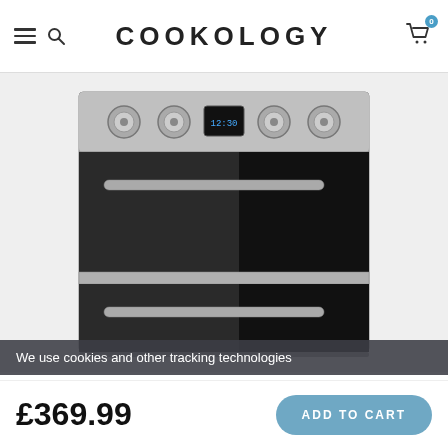COOKOLOGY
[Figure (photo): A stainless steel double oven with black glass doors, four control knobs, and a digital clock display showing 12:30, with two horizontal chrome handles on the oven doors.]
We use cookies and other tracking technologies
£369.99
ADD TO CART